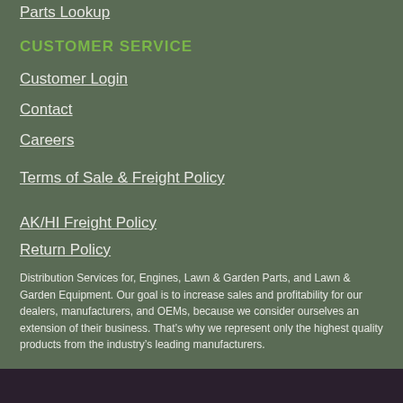Parts Lookup
CUSTOMER SERVICE
Customer Login
Contact
Careers
Terms of Sale & Freight Policy
AK/HI Freight Policy
Return Policy
Distribution Services for, Engines, Lawn & Garden Parts, and Lawn & Garden Equipment. Our goal is to increase sales and profitability for our dealers, manufacturers, and OEMs, because we consider ourselves an extension of their business. That’s why we represent only the highest quality products from the industry’s leading manufacturers.